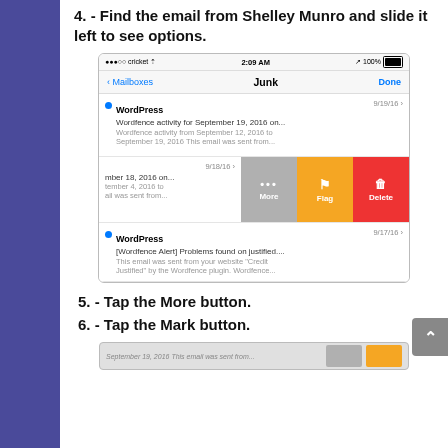4. - Find the email from Shelley Munro and slide it left to see options.
[Figure (screenshot): iPhone screenshot showing iOS Mail app Junk mailbox with swipe-left action buttons (More, Flag, Delete) revealed on an email row. Status bar shows cricket carrier, 2:09 AM, 100% battery. Nav bar shows < Mailboxes, Junk, Done. Three email rows visible: WordPress 9/19/16, a partially visible row with swipe actions, and WordPress 9/17/16.]
5. - Tap the More button.
6. - Tap the Mark button.
[Figure (screenshot): Bottom portion of another iPhone screenshot, partially visible, showing more email rows with swipe options.]